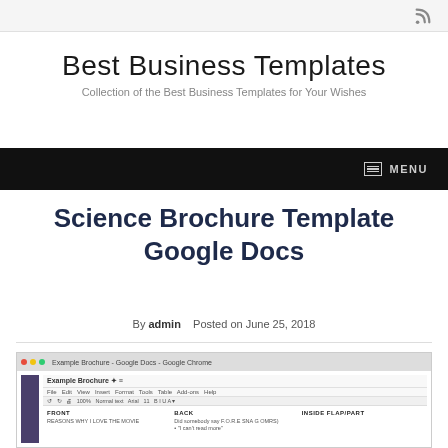RSS icon / site header bar
Best Business Templates
Collection of the Best Business Templates for Your Wishes
MENU
Science Brochure Template Google Docs
By admin  Posted on June 25, 2018
[Figure (screenshot): Screenshot of Google Docs showing an Example Brochure template with FRONT, BACK, and INSIDE FLAP/PART columns visible in a Chrome browser window]